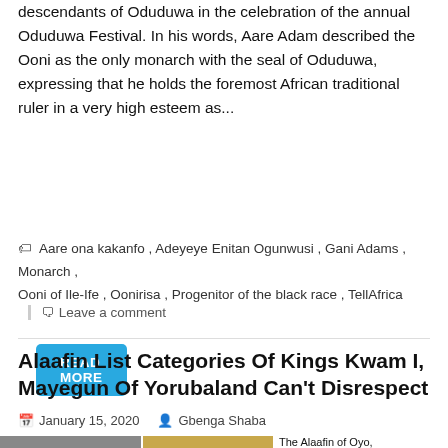descendants of Oduduwa in the celebration of the annual Oduduwa Festival. In his words, Aare Adam described the Ooni as the only monarch with the seal of Oduduwa, expressing that he holds the foremost African traditional ruler in a very high esteem as...
READ MORE
Aare ona kakanfo, Adeyeye Enitan Ogunwusi, Gani Adams, Monarch, Ooni of Ile-Ife, Oonirisa, Progenitor of the black race, TellAfrica
Leave a comment
Alaafin List Categories Of Kings Kwam I, Mayegun Of Yorubaland Can't Disrespect
January 15, 2020   Gbenga Shaba
[Figure (photo): Two photos side by side: left shows a man wearing a checkered traditional cap, right shows a person in golden ornate headgear]
The Alaafin of Oyo, Oba Lamidi Olayiwola Adeyemi III, has said Mayegun of Yoruba...